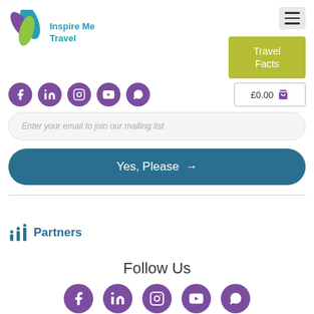[Figure (logo): Inspire Me Travel logo with colorful leaf/feather icon and teal text]
[Figure (other): Hamburger menu icon button (three lines)]
[Figure (other): Travel Facts olive/yellow-green button]
[Figure (other): Cart with £0.00 price and shopping bag icon]
[Figure (other): Social media icons row (Facebook, LinkedIn, Instagram, YouTube, WhatsApp) - top]
Enter your email to join our mailing list
Yes, Please →
Partners
Follow Us
[Figure (other): Social media icons row bottom (Facebook, LinkedIn, Instagram, YouTube, WhatsApp)]